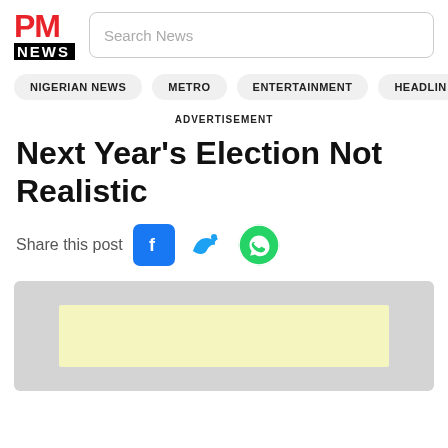[Figure (logo): PM NEWS logo with red PM text and black NEWS banner]
Search News
NIGERIAN NEWS   METRO   ENTERTAINMENT   HEADLIN
ADVERTISEMENT
Next Year's Election Not Realistic
Share this post
[Figure (other): Social share icons: Facebook, Twitter, WhatsApp]
[Figure (other): Advertisement placeholder with light yellow inner banner]